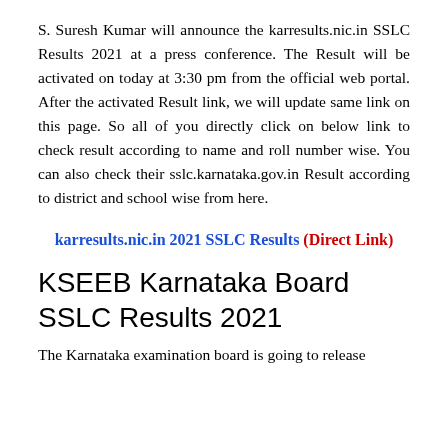S. Suresh Kumar will announce the karresults.nic.in SSLC Results 2021 at a press conference. The Result will be activated on today at 3:30 pm from the official web portal. After the activated Result link, we will update same link on this page. So all of you directly click on below link to check result according to name and roll number wise. You can also check their sslc.karnataka.gov.in Result according to district and school wise from here.
karresults.nic.in 2021 SSLC Results (Direct Link)
KSEEB Karnataka Board SSLC Results 2021
The Karnataka examination board is going to release